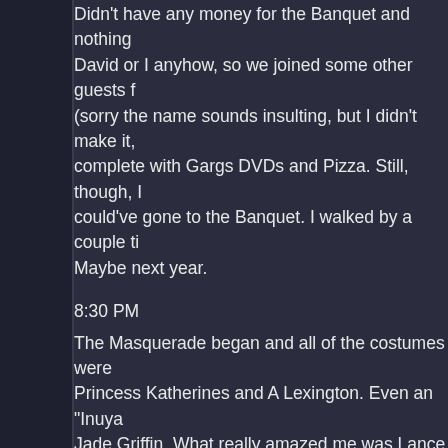Didn't have any money for the Banquet and nothing David or I anyhow, so we joined some other guests f (sorry the name sounds insulting, but I didn't make it, complete with Gargs DVDs and Pizza. Still, though, I could've gone to the Banquet. I walked by a couple ti Maybe next year.
8:30 PM
The Masquerade began and all of the costumes were Princess Katherines and A Lexington. Even an "Inuya Jade Griffin. What really amazed me was Lance as " Lance, who won Best In Show, as I'd expected, did a
Thom and Tony won "Best Couple" award.
9:30 (I think) PM - 12 AM
We finished the Blue Mug-A-Guest after The Masque quite as raunchy as I'd hoped (Dang, I wish I'd gone must've been fun!) but it was still enjoyable. Especial Thom. :P
I'd asked Greg about whether Cyborg Lex (from Futu